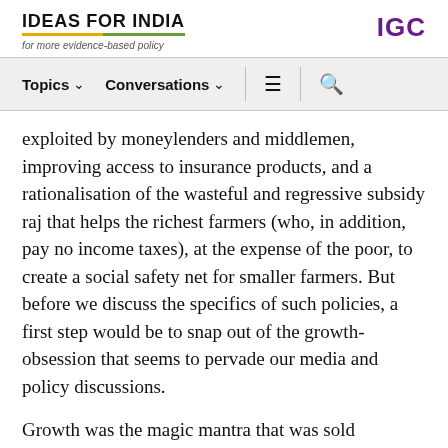IDEAS FOR INDIA — for more evidence-based policy | IGC
Topics  Conversations  [menu] [search]
exploited by moneylenders and middlemen, improving access to insurance products, and a rationalisation of the wasteful and regressive subsidy raj that helps the richest farmers (who, in addition, pay no income taxes), at the expense of the poor, to create a social safety net for smaller farmers. But before we discuss the specifics of such policies, a first step would be to snap out of the growth-obsession that seems to pervade our media and policy discussions.
Growth was the magic mantra that was sold